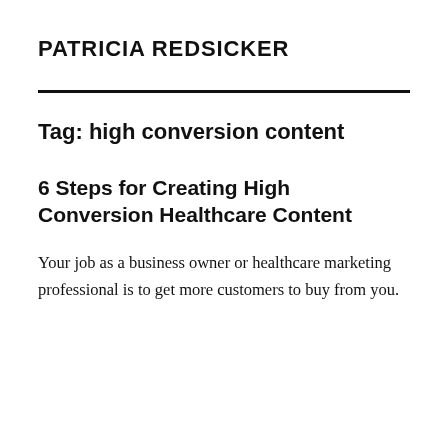PATRICIA REDSICKER
Tag: high conversion content
6 Steps for Creating High Conversion Healthcare Content
Your job as a business owner or healthcare marketing professional is to get more customers to buy from you.